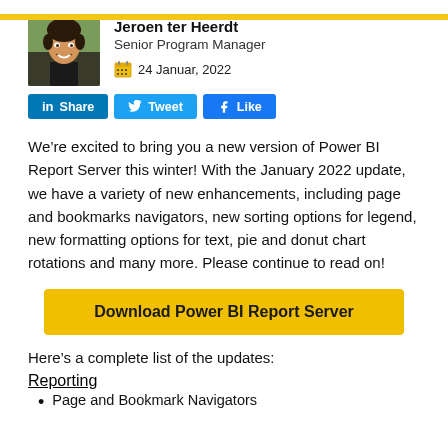[Figure (photo): Author photo of Jeroen ter Heerdt, a smiling man with dark curly hair outdoors]
Jeroen ter Heerdt
Senior Program Manager
24 Januar, 2022
[Figure (infographic): Social share buttons: LinkedIn Share, Twitter Tweet, Facebook Like]
We’re excited to bring you a new version of Power BI Report Server this winter! With the January 2022 update, we have a variety of new enhancements, including page and bookmarks navigators, new sorting options for legend, new formatting options for text, pie and donut chart rotations and many more. Please continue to read on!
[Figure (other): Download Power BI Report Server button (yellow)]
Here’s a complete list of the updates:
Reporting
Page and Bookmark Navigators